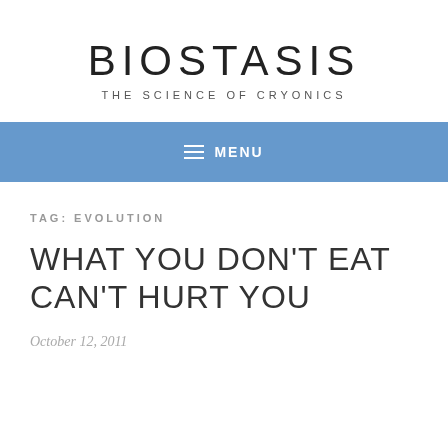BIOSTASIS
THE SCIENCE OF CRYONICS
≡ MENU
TAG: EVOLUTION
WHAT YOU DON'T EAT CAN'T HURT YOU
October 12, 2011